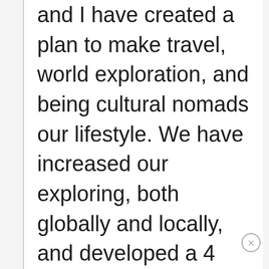and I have created a plan to make travel, world exploration, and being cultural nomads our lifestyle. We have increased our exploring, both globally and locally, and developed a 4 year plan to be leave our jobs and be full time travelers. And you are so right that it has made us